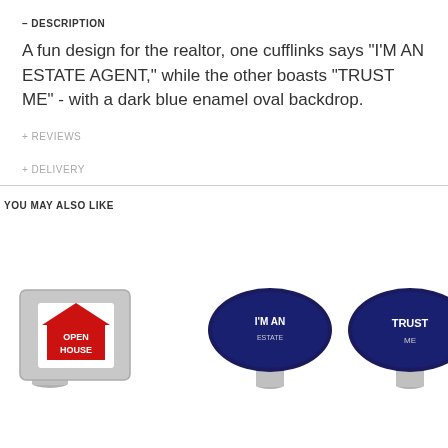– DESCRIPTION
A fun design for the realtor, one cufflinks says "I'M AN ESTATE AGENT," while the other boasts "TRUST ME" - with a dark blue enamel oval backdrop.
+ REVIEWS
+ DELIVERY
YOU MAY ALSO LIKE
[Figure (photo): Three product images: Open House cufflink, I'M AN cufflink, TRUST cufflink]